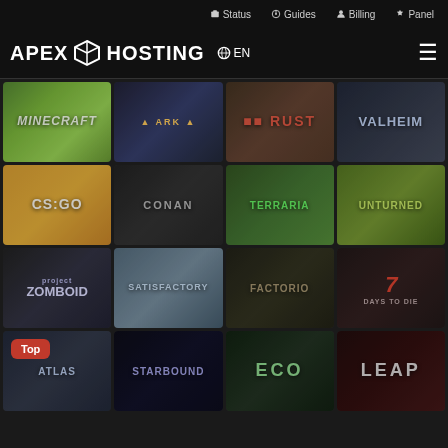Status | Guides | Billing | Panel
[Figure (screenshot): Apex Hosting website header with logo, EN language selector, and hamburger menu]
[Figure (screenshot): Grid of game server hosting options: Minecraft, ARK, Rust, Valheim, CS:GO, Conan, Terraria, Unturned, Project Zomboid, Satisfactory, Factorio, 7 Days to Die, Atlas, Starbound, Eco, LEAP]